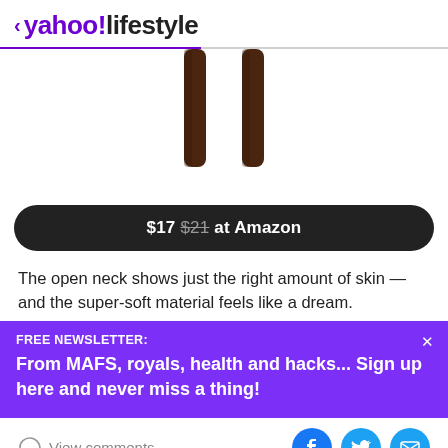< yahoo!lifestyle
[Figure (photo): Product image showing legs of a piece of furniture (table or stool) with dark wooden legs, cropped at top]
$17 $21 at Amazon
The open neck shows just the right amount of skin — and the super-soft material feels like a dream.
FREE NEWSLETTER: From MAFS, royals, health and hacks... Sign up here and never miss a thing!
View comments